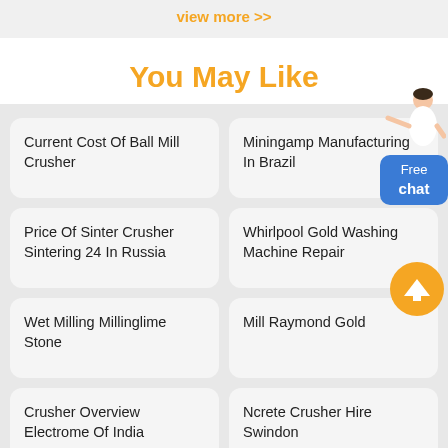view more >>
You May Like
Current Cost Of Ball Mill Crusher
Miningamp Manufacturing In Brazil
Price Of Sinter Crusher Sintering 24 In Russia
Whirlpool Gold Washing Machine Repair
Wet Milling Millinglime Stone
Mill Raymond Gold
Crusher Overview Electrome Of India
Ncrete Crusher Hire Swindon